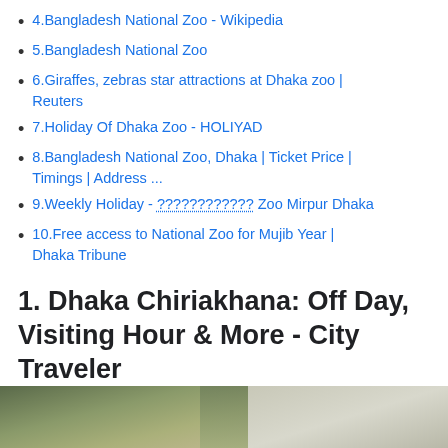4.Bangladesh National Zoo - Wikipedia
5.Bangladesh National Zoo
6.Giraffes, zebras star attractions at Dhaka zoo | Reuters
7.Holiday Of Dhaka Zoo - HOLIYAD
8.Bangladesh National Zoo, Dhaka | Ticket Price | Timings | Address ...
9.Weekly Holiday - ???????????? Zoo Mirpur Dhaka
10.Free access to National Zoo for Mujib Year | Dhaka Tribune
1. Dhaka Chiriakhana: Off Day, Visiting Hour & More - City Traveler
https://www.citytravelerbd.com/dhaka-chiriakhana/
[Figure (photo): Partial photo of an animal (appears to be fur/coat of a large animal) at the bottom of the page]